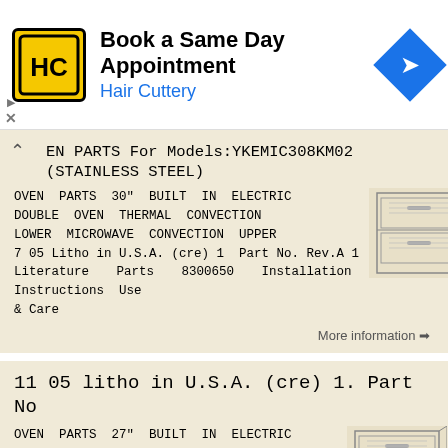[Figure (infographic): Advertisement banner for Hair Cuttery: 'Book a Same Day Appointment' with yellow HC logo and blue navigation arrow icon]
EN PARTS For Models:YKEMIC308KM02 (STAINLESS STEEL)
OVEN PARTS 30" BUILT IN ELECTRIC DOUBLE OVEN THERMAL CONVECTION LOWER MICROWAVE CONVECTION UPPER 7 05 Litho in U.S.A. (cre) 1 Part No. Rev.A 1 Literature Parts 8300650 Installation Instructions Use & Care
[Figure (engineering-diagram): Schematic diagram of a built-in double oven appliance]
More information ➔
11 05 litho in U.S.A. (cre) 1. Part No
OVEN PARTS 27" BUILT IN ELECTRIC DOUBLE OVEN THERMAL CONVECTION LOWER MICROWAVE CONVECTION UPPER 11 05 litho in U.S.A. (cre) 1 Part No. OVEN
[Figure (engineering-diagram): Schematic diagram of a 27-inch built-in double oven appliance]